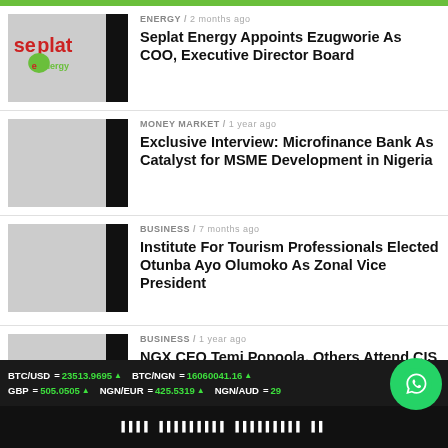[Figure (infographic): Seplat Energy logo with red and green text and black vertical bar]
ENERGY / 2 months ago
Seplat Energy Appoints Ezugworie As COO, Executive Director Board
[Figure (photo): Portrait of a man in a suit]
MONEY MARKET / 1 year ago
Exclusive Interview: Microfinance Bank As Catalyst for MSME Development in Nigeria
[Figure (photo): Group of people at an event with red and white banners]
BUSINESS / 7 months ago
Institute For Tourism Professionals Elected Otunba Ayo Olumoko As Zonal Vice President
[Figure (photo): Group of people at a gala or formal ceremony]
BUSINESS / 1 year ago
NGX CEO Temi Popoola, Others Attend CIS Investiture Ceremony
BTC/USD = 23513.9695 ▲   BTC/NGN = 16060041.16 ▲   GBP = 505.0505 ▲   NGN/EUR = 425.5319 ▲   NGN/AUD = 29...